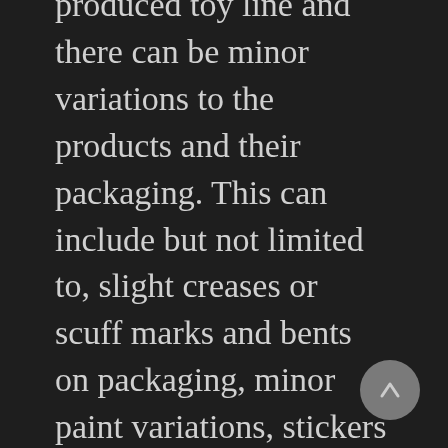produced toy line and there can be minor variations to the products and their packaging. This can include but not limited to, slight creases or scuff marks and bents on packaging, minor paint variations, stickers included or not included on boxes etc. Please keep in mind that the packaging of these products are designed to assist the manufacturer and retailers to promote and sell what is actually inside the box – the collectable toy. Unfortunately we will not be replacing or refunding products that have "minor variations". The products are